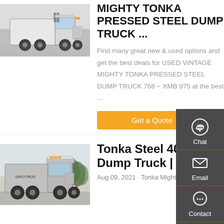[Figure (photo): Photo of a large white semi truck/tractor cab parked on a lot, visible from side-front angle]
MIGHTY TONKA PRESSED STEEL DUMP TRUCK ...
Find many great new & used options and get the best deals for USED VINTAGE MIGHTY TONKA PRESSED STEEL DUMP TRUCK 768 ~ XMB 975 at the best ...
Get a Quote
[Figure (photo): Photo of a silver/grey heavy duty truck (Sinotruk HOWO-T7) parked outdoors with trees in background]
Tonka Steel 4000 Dump Truck | EBay
Aug 09, 2021 · Tonka Mighty